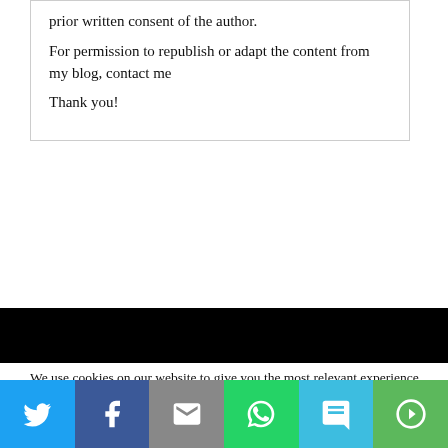prior written consent of the author.

For permission to republish or adapt the content from my blog, contact me
Thank you!
We use cookies on our website to give you the most relevant experience by remembering your preferences and repeat visits. By clicking “Accept All”, you consent to the use of ALL the cookies. However, you may visit "Cookie Settings" to provide a controlled consent.
[Figure (infographic): Social share bar with Twitter, Facebook, Email, WhatsApp, SMS, and More buttons]